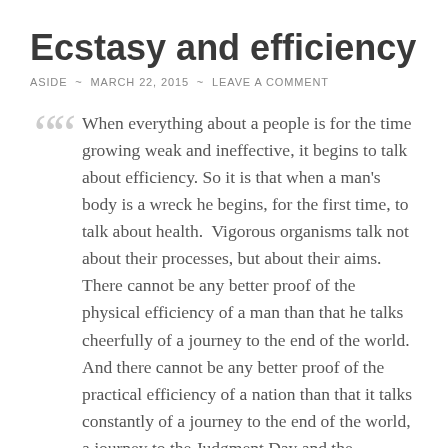Ecstasy and efficiency
ASIDE ~ MARCH 22, 2015 ~ LEAVE A COMMENT
When everything about a people is for the time growing weak and ineffective, it begins to talk about efficiency. So it is that when a man's body is a wreck he begins, for the first time, to talk about health. Vigorous organisms talk not about their processes, but about their aims. There cannot be any better proof of the physical efficiency of a man than that he talks cheerfully of a journey to the end of the world. And there cannot be any better proof of the practical efficiency of a nation than that it talks constantly of a journey to the end of the world, a journey to the Judgment Day and the